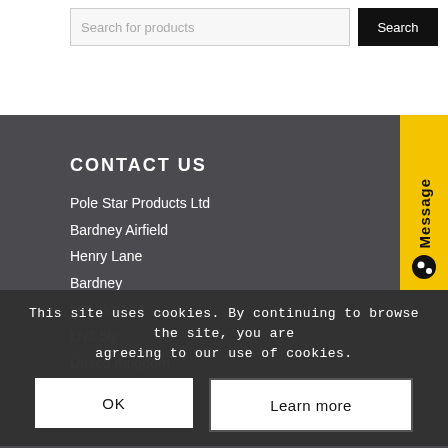Search for products | Search
CONTACT US
Pole Star Products Ltd
Bardney Airfield
Henry Lane
Bardney
Lincolnshire
LN3 5ly
United Kingdom
P: +44 (0) 152...
E: sales@psp...
This site uses cookies. By continuing to browse the site, you are agreeing to our use of cookies.
OK | Learn more